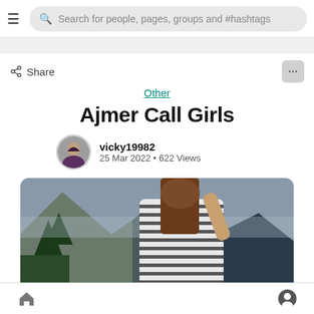Search for people, pages, groups and #hashtags
Share
Other
Ajmer Call Girls
vicky19982
25 Mar 2022 • 622 Views
[Figure (photo): Woman in striped dress with mountain background]
Home and Profile navigation icons